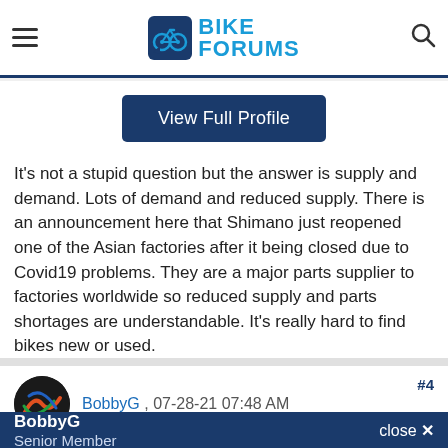Bike Forums
[Figure (other): View Full Profile button (dark blue rounded rectangle)]
It's not a stupid question but the answer is supply and demand. Lots of demand and reduced supply. There is an announcement here that Shimano just reopened one of the Asian factories after it being closed due to Covid19 problems. They are a major parts supplier to factories worldwide so reduced supply and parts shortages are understandable. It's really hard to find bikes new or used.
#4
[Figure (photo): User avatar for BobbyG - circular profile image with dark/colorful background]
BobbyG , 07-28-21 07:48 AM
Senior Member
BobbyG Senior Member close X